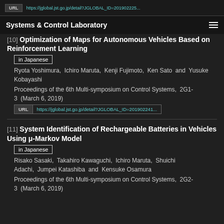URL | https://jglobal.jst.go.jp/detail?JGLOBAL_ID=201902225...
Systems & Control Laboratory
[10] Optimization of Maps for Autonomous Vehicles Based on Reinforcement Learning
in Japanese
Ryota Yoshimura,  Ichiro Maruta,  Kenji Fujimoto,  Ken Sato  and  Yusuke Kobayashi
Proceedings of the 6th Multi-symposium on Control Systems,  2G1-3  (March 6, 2019)
URL | https://jglobal.jst.go.jp/detail?JGLOBAL_ID=201902241...
[11] System Identification of Rechargeable Batteries in Vehicles Using μ-Markov Model
in Japanese
Risako Sasaki,  Takahiro Kawaguchi,  Ichiro Maruta,  Shuichi Adachi,  Jumpei Katashiba  and  Kensuke Osamura
Proceedings of the 6th Multi-symposium on Control Systems,  2G2-3  (March 6, 2019)